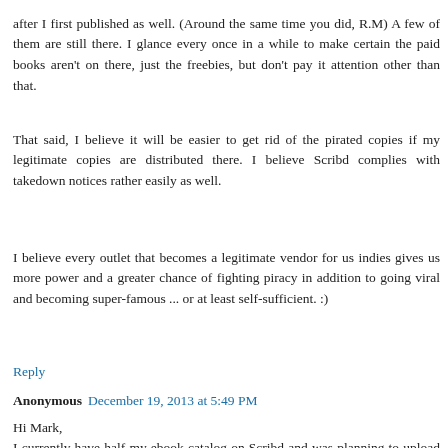after I first published as well. (Around the same time you did, R.M) A few of them are still there. I glance every once in a while to make certain the paid books aren't on there, just the freebies, but don't pay it attention other than that.
That said, I believe it will be easier to get rid of the pirated copies if my legitimate copies are distributed there. I believe Scribd complies with takedown notices rather easily as well.
I believe every outlet that becomes a legitimate vendor for us indies gives us more power and a greater chance of fighting piracy in addition to going viral and becoming super-famous ... or at least self-sufficient. :)
Reply
Anonymous December 19, 2013 at 5:49 PM
Hi Mark,
I currently have half my ebook catalog on Scribd and was planning to upload the other half, but I'm excited that